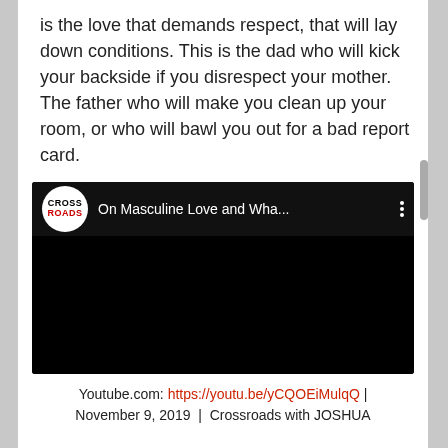is the love that demands respect, that will lay down conditions. This is the dad who will kick your backside if you disrespect your mother. The father who will make you clean up your room, or who will bawl you out for a bad report card.
[Figure (screenshot): YouTube video embed showing 'On Masculine Love and Wha...' by Crossroads channel with a black video frame]
Youtube.com: https://youtu.be/yCQOEiMulqQ | November 9, 2019 | Crossroads with JOSHUA